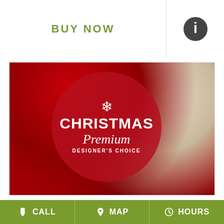BUY NOW
[Figure (photo): Christmas flower arrangement with red roses, white calla lilies, red berries, pine cones, and green foliage. A semi-transparent red circle overlay contains a snowflake icon, the word CHRISTMAS in bold white uppercase, Premium in white italic script, and DESIGNER'S CHOICE in small white uppercase letters.]
CALL   MAP   HOURS